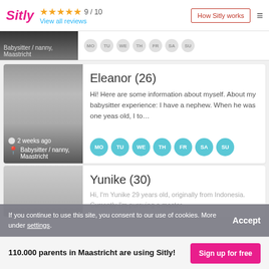Sitly ★★★★☆ 9/10 View all reviews | How Sitly works
[Figure (photo): Babysitter profile photo strip with day labels MO TU WE TH FR SA SU]
[Figure (photo): Eleanor profile card with photo, 2 weeks ago, Babysitter / nanny Maastricht, days MO TU WE TH FR SA SU]
Eleanor (26)
Hi! Here are some information about myself. About my babysitter experience: I have a nephew. When he was one yeas old, I to…
2 weeks ago
Babysitter / nanny, Maastricht
Yunike (30)
Hi, I'm Yunike 29 years old, originally from Indonesia. Currently I'm pursuing a master...
If you continue to use this site, you consent to our use of cookies. More under settings.
Accept
110.000 parents in Maastricht are using Sitly!
Sign up for free